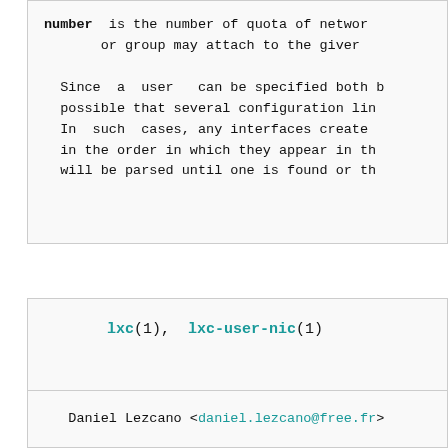number is the number or quota of network interfaces a user or group may attach to the given network. Since a user can be specified both by name and by id, it is possible that several configuration lines match a given user. In such cases, any interfaces created are counted in the order in which they appear in the file, and each will be parsed until one is found or the limit is reached.
lxc(1), lxc-user-nic(1)
Daniel Lezcano <daniel.lezcano@free.fr>